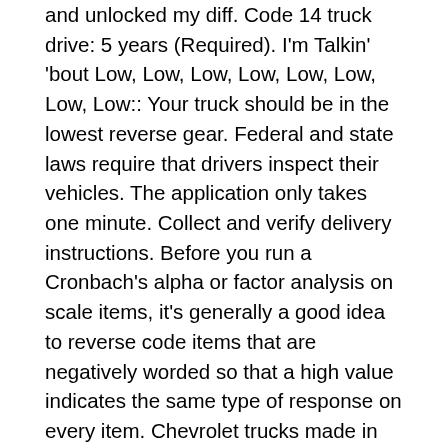and unlocked my diff. Code 14 truck drive: 5 years (Required). I'm Talkin' 'bout Low, Low, Low, Low, Low, Low, Low, Low:: Your truck should be in the lowest reverse gear. Federal and state laws require that drivers inspect their vehicles. The application only takes one minute. Collect and verify delivery instructions. Before you run a Cronbach's alpha or factor analysis on scale items, it's generally a good idea to reverse code items that are negatively worded so that a high value indicates the same type of response on every item. Chevrolet trucks made in 1965 are equipped with one of three manual transmissions: Muncie, Saginaw and Borg-Warner. Just a quick thanks from a survey researcher who was given a hard copy table set and that's all. Here's some great advice that will help you pass truck driving school with flying colors. NewVariable = 8 – OldVariable; This website uses cookies to improve your experience while you navigate through the website. He'd continue back until his drivers side mirror matched up with the